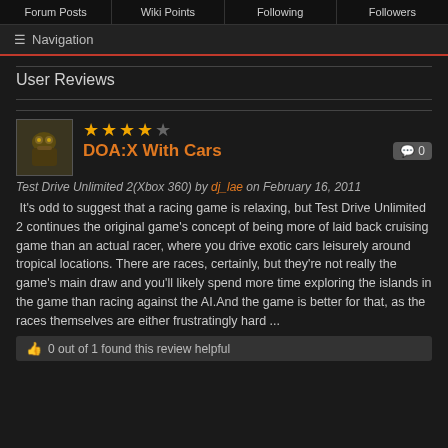Forum Posts | Wiki Points | Following | Followers
≡ Navigation
User Reviews
[Figure (photo): Small avatar image of a robotic/armored character]
★★★★☆ DOA:X With Cars
Test Drive Unlimited 2(Xbox 360) by dj_lae on February 16, 2011
It's odd to suggest that a racing game is relaxing, but Test Drive Unlimited 2 continues the original game's concept of being more of laid back cruising game than an actual racer, where you drive exotic cars leisurely around tropical locations. There are races, certainly, but they're not really the game's main draw and you'll likely spend more time exploring the islands in the game than racing against the AI.And the game is better for that, as the races themselves are either frustratingly hard ...
0 out of 1 found this review helpful